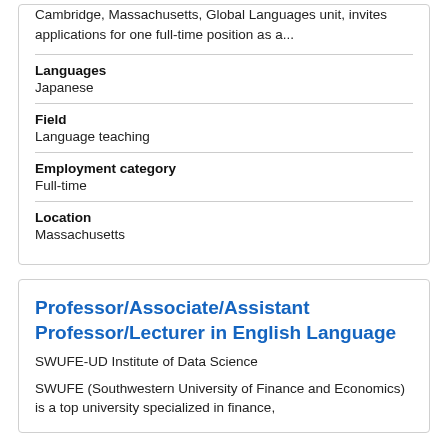Cambridge, Massachusetts, Global Languages unit, invites applications for one full-time position as a...
Languages
Japanese
Field
Language teaching
Employment category
Full-time
Location
Massachusetts
Professor/Associate/Assistant Professor/Lecturer in English Language
SWUFE-UD Institute of Data Science
SWUFE (Southwestern University of Finance and Economics) is a top university specialized in finance,